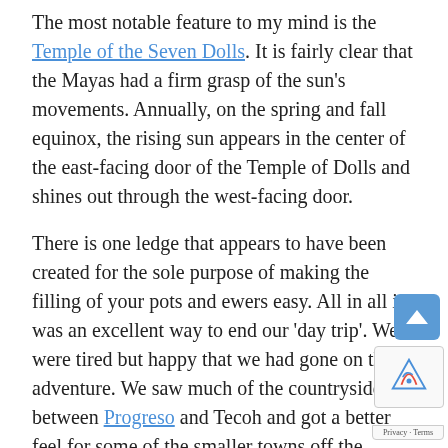The most notable feature to my mind is the Temple of the Seven Dolls. It is fairly clear that the Mayas had a firm grasp of the sun's movements. Annually, on the spring and fall equinox, the rising sun appears in the center of the east-facing door of the Temple of Dolls and shines out through the west-facing door.
There is one ledge that appears to have been created for the sole purpose of making the filling of your pots and ewers easy. All in all it was an excellent way to end our 'day trip'. We were tired but happy that we had gone on this adventure. We saw much of the countryside between Progreso and Tecoh and got a better feel for some of the smaller towns off the beaten path.
There is no doubt that there is much to see and do in the Yucatan. My time here is drawing to a close and starting to regret only being here one month. If you of those tourists that feels they must fill every waking